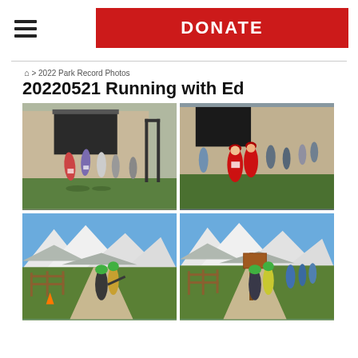DONATE
🏠 > 2022 Park Record Photos
20220521 Running with Ed
[Figure (photo): Four photos of a running event. Top-left: runners in colorful attire leaving a building. Top-right: runners with red costumes in a crowd. Bottom-left: runners on a path with snowy mountains and fence. Bottom-right: runners on same path with sign post and snowy mountains.]